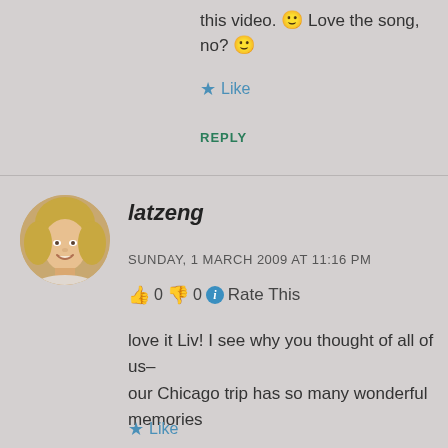this video. 🙂 Love the song, no? 🙂
★ Like
REPLY
[Figure (photo): Circular avatar photo of a smiling blonde woman]
latzeng
SUNDAY, 1 MARCH 2009 AT 11:16 PM
👍 0 👎 0 ℹ Rate This
love it Liv! I see why you thought of all of us– our Chicago trip has so many wonderful memories
★ Like